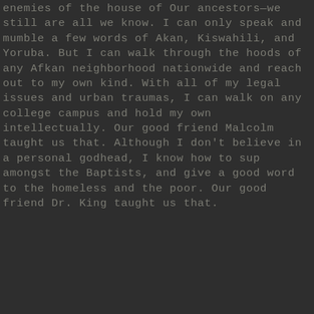enemies of the house of Our ancestors—we still are all we know. I can only speak and mumble a few words of Akan, Kiswahili, and Yoruba. But I can walk through the hoods of any Afkan neighborhood nationwide and reach out to my own kind. With all of my legal issues and urban traumas, I can walk on any college campus and hold my own intellectually. Our good friend Malcolm taught us that. Although I don't believe in a personal godhead, I know how to sup amongst the Baptists, and give a good word to the homeless and the poor. Our good friend Dr. King taught us that.